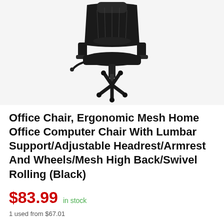[Figure (photo): Black ergonomic mesh office chair with lumbar support, adjustable headrest, armrests, five-star wheeled base, viewed from a slight angle showing the seat, backrest, and rolling base.]
Office Chair, Ergonomic Mesh Home Office Computer Chair With Lumbar Support/Adjustable Headrest/Armrest And Wheels/Mesh High Back/Swivel Rolling (Black)
$83.99  in stock
1 used from $67.01